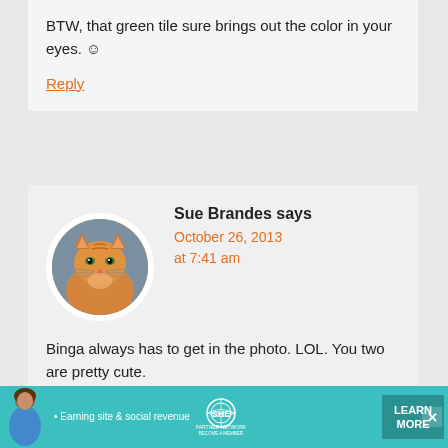BTW, that green tile sure brings out the color in your eyes. ☺
Reply
[Figure (photo): Circular avatar photo of an orange tabby cat looking upward]
Sue Brandes says
October 26, 2013 at 7:41 am
Binga always has to get in the photo. LOL. You two are pretty cute.
[Figure (infographic): SHE Partner Network advertisement banner with woman photo, bullet text 'Earning site & social revenue', SHE logo, and LEARN MORE button]